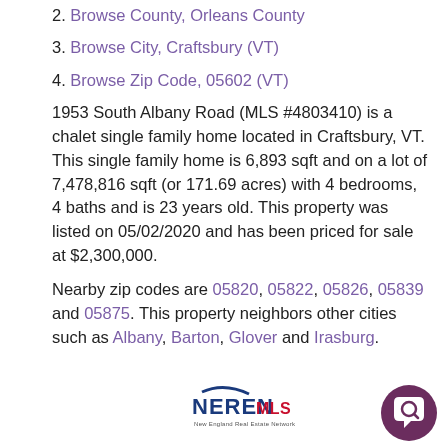2. Browse County, Orleans County
3. Browse City, Craftsbury (VT)
4. Browse Zip Code, 05602 (VT)
1953 South Albany Road (MLS #4803410) is a chalet single family home located in Craftsbury, VT. This single family home is 6,893 sqft and on a lot of 7,478,816 sqft (or 171.69 acres) with 4 bedrooms, 4 baths and is 23 years old. This property was listed on 05/02/2020 and has been priced for sale at $2,300,000.
Nearby zip codes are 05820, 05822, 05826, 05839 and 05875. This property neighbors other cities such as Albany, Barton, Glover and Irasburg.
[Figure (logo): NEREN MLS - New England Real Estate Network logo]